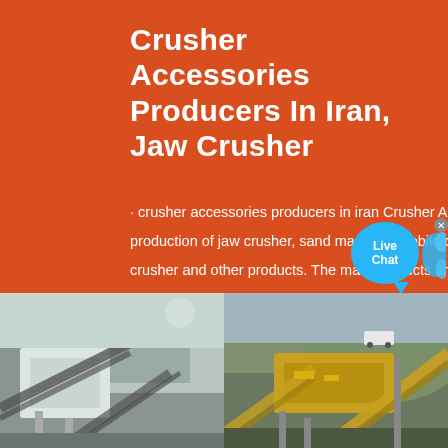Crusher Accessories Producers In Iran, Jaw Crusher
· crusher accessories producers in iran Crusher Accessories Producers In Iran Specializing in the production of jaw crusher, sand machine, mobile cone crusher,stone crushing machine,mobile,hammer crusher and other products. The main products are E ...
[Figure (illustration): Live Chat button bubble in blue with bird/chat icon and close X]
Read More
[Figure (photo): Two side-by-side photos of industrial crushing machinery equipment at industrial sites]